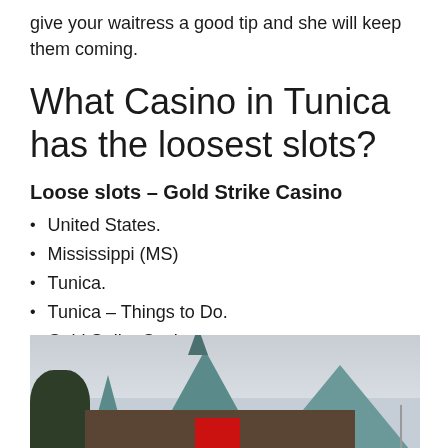give your waitress a good tip and she will keep them coming.
What Casino in Tunica has the loosest slots?
Loose slots – Gold Strike Casino
United States.
Mississippi (MS)
Tunica.
Tunica – Things to Do.
Gold Strike Casino.
[Figure (photo): Exterior photo of Gold Strike Casino in Tunica, MS showing ornate building with teal/blue-green steep pitched roofs and spires, trees on left, cloudy sky background.]